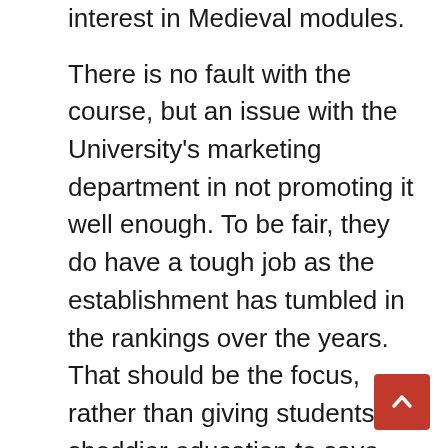interest in Medieval modules.

There is no fault with the course, but an issue with the University's marketing department in not promoting it well enough. To be fair, they do have a tough job as the establishment has tumbled in the rankings over the years. That should be the focus, rather than giving students a shoddier education to save money. Leicester's University and College trade union has done a good job in unearthing investments and financial statements which raise questions about motives behind recent decisions. Universities need to adapt – but it shouldn't be taken out on long-serving staff who are leading experts in their field. Once they're gone, they won't be coming back and its students who will lose out permanently.